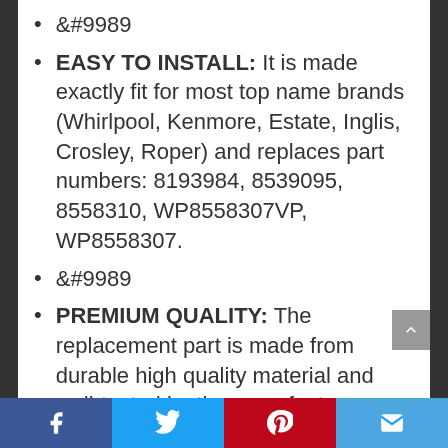&#9989;
EASY TO INSTALL: It is made exactly fit for most top name brands (Whirlpool, Kenmore, Estate, Inglis, Crosley, Roper) and replaces part numbers: 8193984, 8539095, 8558310, WP8558307VP, WP8558307.
&#9989;
PREMIUM QUALITY: The replacement part is made from durable high quality material and well-tested by the manufacturer.
&#9989;